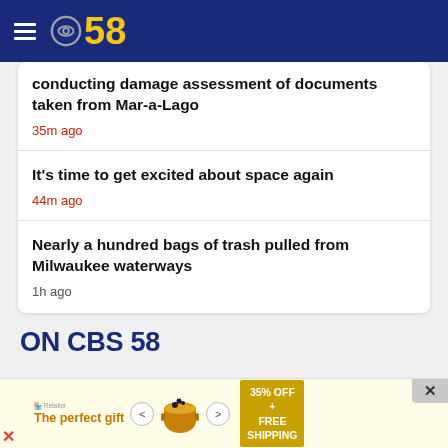CBS 58
conducting damage assessment of documents taken from Mar-a-Lago
35m ago
It's time to get excited about space again
44m ago
Nearly a hundred bags of trash pulled from Milwaukee waterways
1h ago
ON CBS 58
[Figure (screenshot): Advertisement banner: 'The perfect gift' with arrows, pot image, and 35% OFF + FREE SHIPPING offer]